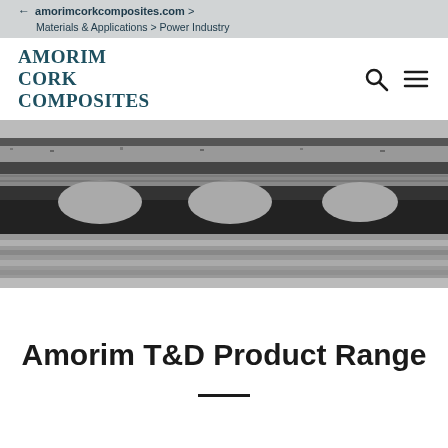← amorimcorkcomposites.com >
Materials & Applications > Power Industry
[Figure (logo): Amorim Cork Composites logo in teal/dark blue serif text]
[Figure (photo): Black and white close-up photograph of cork composite material cross-section showing layered texture with bulbous protrusions]
Amorim T&D Product Range